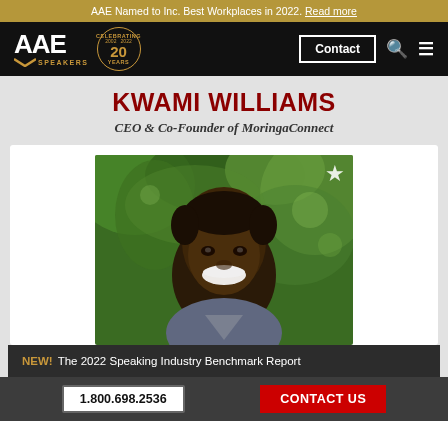AAE Named to Inc. Best Workplaces in 2022. Read more
[Figure (logo): AAE Speakers Bureau logo with '20 Years Celebrating' anniversary badge, Contact button, search icon, and hamburger menu on black navigation bar]
KWAMI WILLIAMS
CEO & Co-Founder of MoringaConnect
[Figure (photo): Professional headshot of Kwami Williams, smiling man with short dark hair against a green blurred background, with a star/bookmark icon in the upper right corner]
NEW! The 2022 Speaking Industry Benchmark Report
1.800.698.2536    CONTACT US